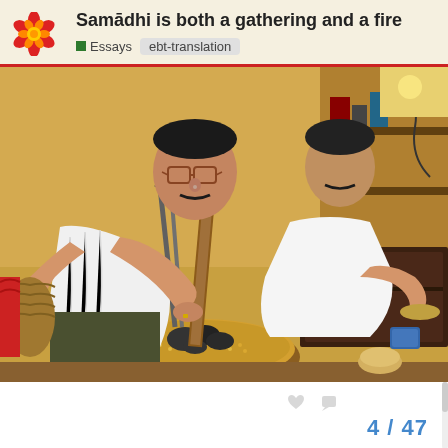Samādhi is both a gathering and a fire
Essays
ebt-translation
[Figure (photo): Two men working in a small workshop or smithy. The man in the foreground, wearing glasses and a white shirt, uses tongs and a long wooden-handled tool to work with a bowl filled with small golden grains and dark coals/stones. A second man in a white shirt sits in the background working with metal tools. Shelves with various items and tools are visible in the background.]
4 / 47